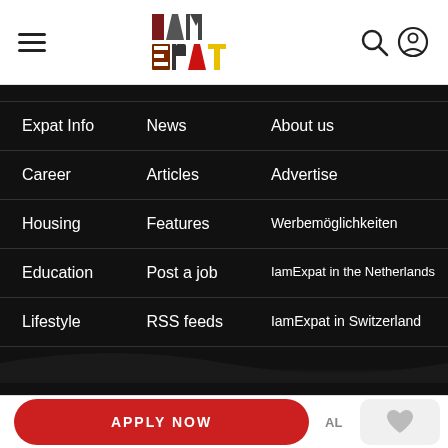[Figure (logo): IAmExpat logo with colorful letters - I in dark red, AM in dark/gray, EX in dark brown/red, PAT in yellow/red]
Expat Info
News
About us
Career
Articles
Advertise
Housing
Features
Werbemöglichkeiten
Education
Post a job
IamExpat in the Netherlands
Lifestyle
RSS feeds
IamExpat in Switzerland
APPLY NOW